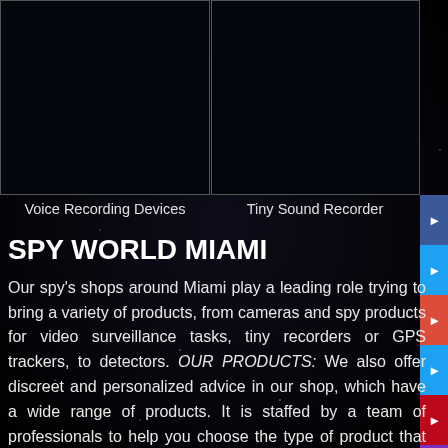[Figure (photo): Two dark panels showing starfield/night sky backgrounds, representing product images for Voice Recording Devices (left) and Tiny Sound Recorder (right)]
Voice Recording Devices
Tiny Sound Recorder
SPY WORLD MIAMI
Our spy's shops around Miami play a leading role trying to bring a variety of products, from cameras and spy products for video surveillance tasks, tiny recorders or GPS trackers, to detectors. OUR PRODUCTS: We also offer discreet and personalized advice in our shop, which have a wide range of products. It is staffed by a team of professionals to help you choose the type of product that best suits your needs on what